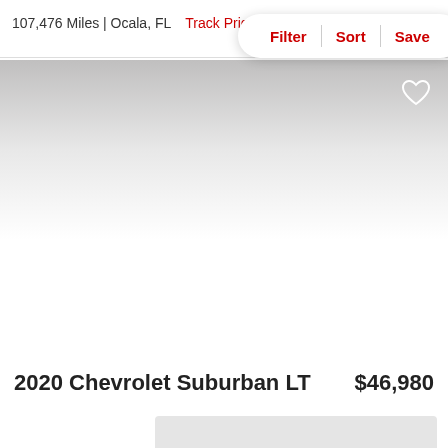107,476 Miles | Ocala, FL
Track Price
Filter | Sort | Save
[Figure (photo): Car listing image area with gradient background, mostly white/gray, heart/save icon in top right corner]
2020 Chevrolet Suburban LT  $46,980
[Figure (photo): Thumbnail image strip at bottom of listing card, light gray placeholder]